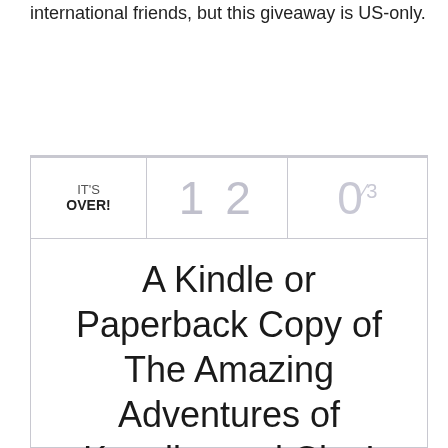international friends, but this giveaway is US-only.
[Figure (other): Giveaway widget showing 'IT'S OVER!' status with entry count 1 2 and 0/3 mandatory entries completed, for a prize of A Kindle or Paperback Copy of The Amazing Adventures of Kavalier and Clay!]